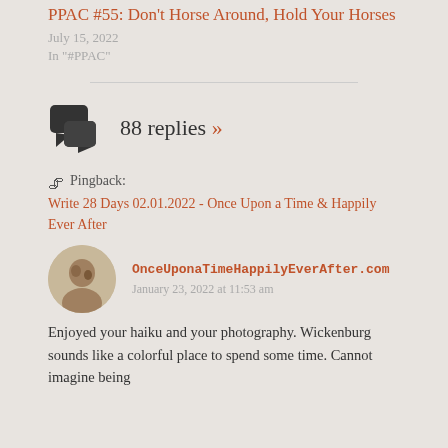PPAC #55: Don't Horse Around, Hold Your Horses
July 15, 2022
In "#PPAC"
88 replies »
Pingback: Write 28 Days 02.01.2022 - Once Upon a Time & Happily Ever After
OnceUponaTimeHappilyEverAfter.com
January 23, 2022 at 11:53 am
Enjoyed your haiku and your photography. Wickenburg sounds like a colorful place to spend some time. Cannot imagine being